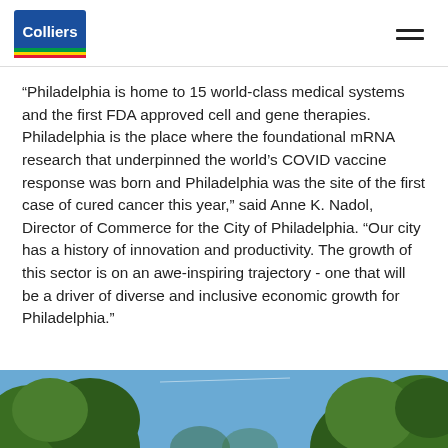Colliers
“Philadelphia is home to 15 world-class medical systems and the first FDA approved cell and gene therapies. Philadelphia is the place where the foundational mRNA research that underpinned the world’s COVID vaccine response was born and Philadelphia was the site of the first case of cured cancer this year,” said Anne K. Nadol, Director of Commerce for the City of Philadelphia. “Our city has a history of innovation and productivity. The growth of this sector is on an awe-inspiring trajectory - one that will be a driver of diverse and inclusive economic growth for Philadelphia.”
[Figure (photo): Outdoor photo showing trees with green leaves against a blue sky, viewed from below]